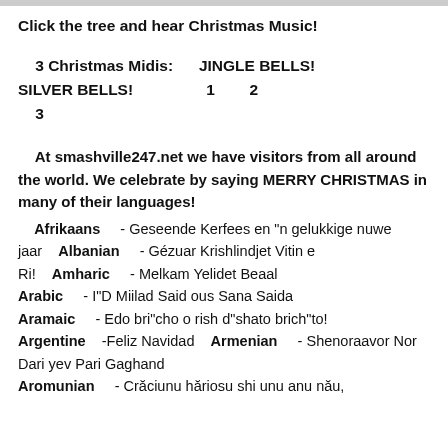Click the tree and hear Christmas Music!
3 Christmas Midis:      JINGLE BELLS!   SILVER BELLS!            1         2       3
At smashville247.net we have visitors from all around the world. We celebrate by saying MERRY CHRISTMAS in many of their languages!
Afrikaans - Geseende Kerfees en "n gelukkige nuwe jaar   Albanian - Gézuar Krishlindjet Vitin e Ri!   Amharic - Melkam Yelidet Beaal   Arabic - I"D Miilad Said ous Sana Saida   Aramaic - Edo bri"cho o rish d"shato brich"to!   Argentine -Feliz Navidad   Armenian - Shenoraavor Nor Dari yev Pari Gaghand   Aromunian - Crăciunu hăriosu shi unu anu nău,